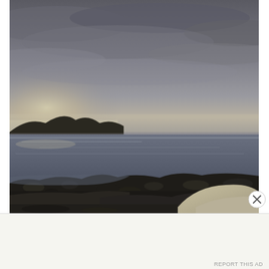[Figure (photo): Coastal landscape photo at dusk/overcast: dramatic grey cloudy sky with pale light near horizon on left, calm water reflecting clouds in middle ground, dark rocky shoreline in foreground, hills and trees on left, large pale rock in bottom-right corner.]
Advertisements
Professionally designed sites in less than a week